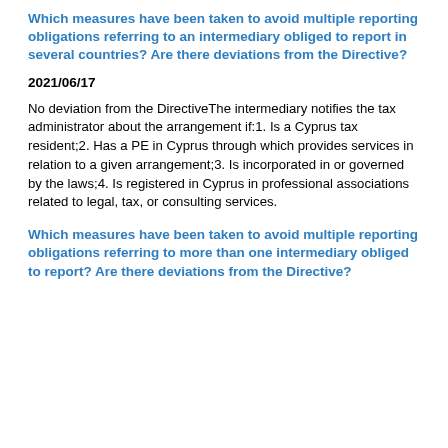Which measures have been taken to avoid multiple reporting obligations referring to an intermediary obliged to report in several countries? Are there deviations from the Directive?
2021/06/17
No deviation from the DirectiveThe intermediary notifies the tax administrator about the arrangement if:1. Is a Cyprus tax resident;2. Has a PE in Cyprus through which provides services in relation to a given arrangement;3. Is incorporated in or governed by the laws;4. Is registered in Cyprus in professional associations related to legal, tax, or consulting services.
Which measures have been taken to avoid multiple reporting obligations referring to more than one intermediary obliged to report? Are there deviations from the Directive?